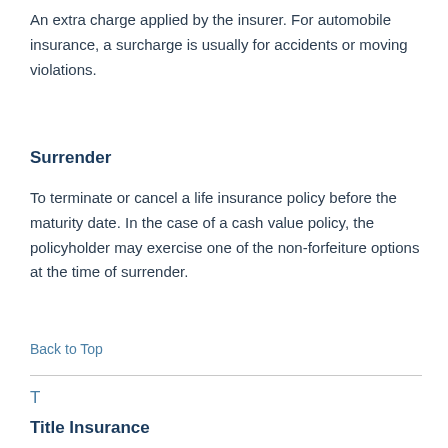An extra charge applied by the insurer. For automobile insurance, a surcharge is usually for accidents or moving violations.
Surrender
To terminate or cancel a life insurance policy before the maturity date. In the case of a cash value policy, the policyholder may exercise one of the non-forfeiture options at the time of surrender.
Back to Top
T
Title Insurance